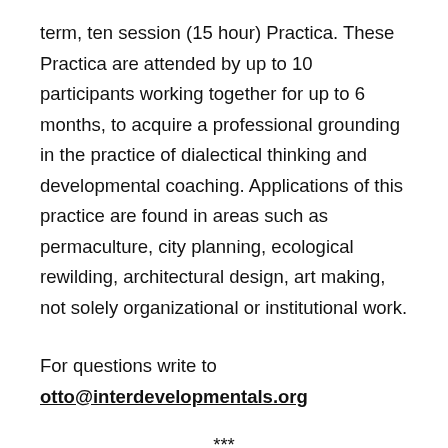term, ten session (15 hour) Practica. These Practica are attended by up to 10 participants working together for up to 6 months, to acquire a professional grounding in the practice of dialectical thinking and developmental coaching. Applications of this practice are found in areas such as permaculture, city planning, ecological rewilding, architectural design, art making, not solely organizational or institutional work.
For questions write to otto@interdevelopmentals.org
***
Dialectical thinking is a quintessential human technology that enables the inclusion and reversal of